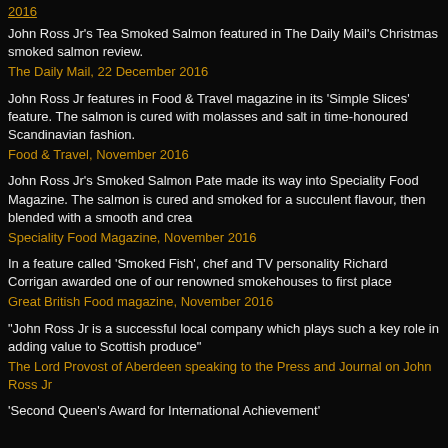2016
John Ross Jr's Tea Smoked Salmon featured in The Daily Mail's Christmas smoked salmon review.
The Daily Mail, 22 December 2016
John Ross Jr features in Food & Travel magazine in its 'Simple Slices' feature. The salmon is cured with molasses and salt in time-honoured Scandinavian fashion.
Food & Travel, November 2016
John Ross Jr's Smoked Salmon Pate made its way into Speciality Food Magazine. The salmon is cured and smoked for a succulent flavour, then blended with a smooth and creamy sauce.
Speciality Food Magazine, November 2016
In a feature called 'Smoked Fish', chef and TV personality Richard Corrigan awarded one of our renowned smokehouses to first place
Great British Food magazine, November 2016
"John Ross Jr is a successful local company which plays such a key role in adding value to Scottish produce"
The Lord Provost of Aberdeen speaking to the Press and Journal on John Ross Jr
'Second Queen's Award for International Achievement'